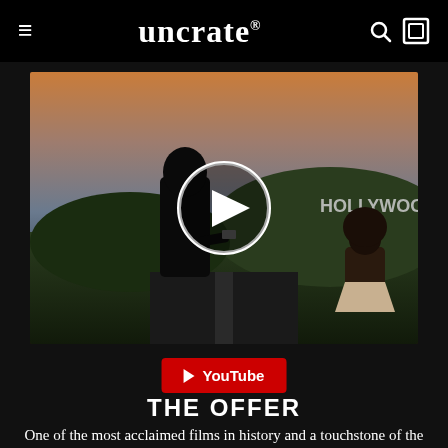uncrate®
[Figure (screenshot): Video thumbnail showing two silhouetted figures on a road at dusk with Hollywood sign visible in background, overlaid with a white circular play button]
[Figure (other): YouTube red button with play icon and 'YouTube' text]
THE OFFER
One of the most acclaimed films in history and a touchstone of the American experience, The